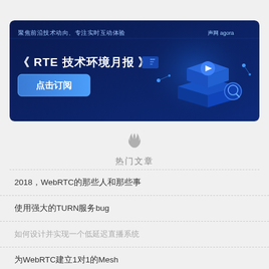[Figure (illustration): Agora RTE技术环境月报 banner advertisement with dark blue background, Chinese text '聚焦前沿技术动向、专注实时互动体验', title '《 RTE 技术环境月报 》', button '点击订阅', Agora logo '声网 agora', and 3D holographic tech illustration on the right.]
🔥
热门文章
2018，WebRTC的那些人和那些事
使用强大的TURN服务bug
如何设计并实现一个低延迟直播系统
为WebRTC建立1对1的Mesh